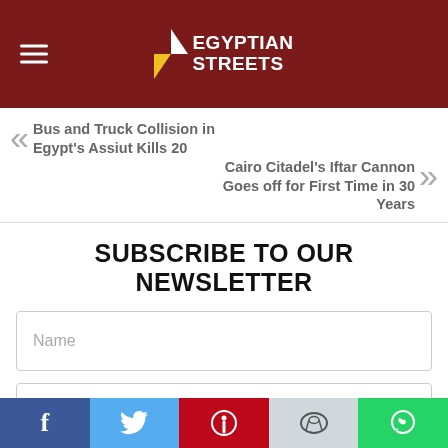Egyptian Streets
« Bus and Truck Collision in Egypt's Assiut Kills 20
Cairo Citadel's Iftar Cannon Goes off for First Time in 30 Years »
SUBSCRIBE TO OUR NEWSLETTER
Name
Email Address
SUBSCRIBE